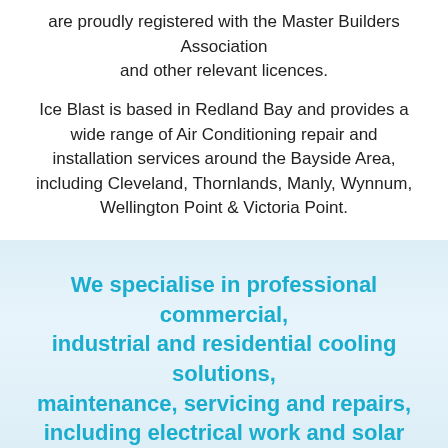are proudly registered with the Master Builders Association and other relevant licences.
Ice Blast is based in Redland Bay and provides a wide range of Air Conditioning repair and installation services around the Bayside Area, including Cleveland, Thornlands, Manly, Wynnum, Wellington Point & Victoria Point.
We specialise in professional commercial, industrial and residential cooling solutions, maintenance, servicing and repairs, including electrical work and solar panel solutions.